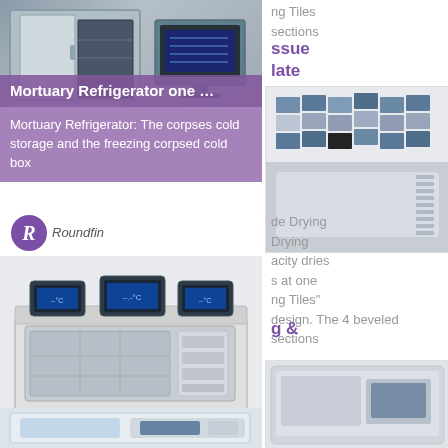[Figure (photo): Mortuary refrigerator cold storage unit, open door showing interior]
Mortuary Refrigerator one …
Mortuary Refrigerator: The corpses cold storage and the freezing corpsed cold box
[Figure (photo): Tissue embedding cold plate product with blue tiles arrangement]
ng Tiles
sections
ssue
late
[Figure (photo): Roundfin logo — circular purple R logo with italic Roundfin text]
[Figure (photo): Histology tissue embedding workstation machine, white unit with blue display panels]
Histology Products Tissue …
Histology Products Tissue embedding working station with cold plate with
de Drying
Drying
acity dries
s at one
ng Tiles"
design. The 4 beveled sections
g &
[Figure (photo): White and blue laboratory tissue processing or embedding machine]
[Figure (photo): Partial view of another laboratory instrument bottom right]